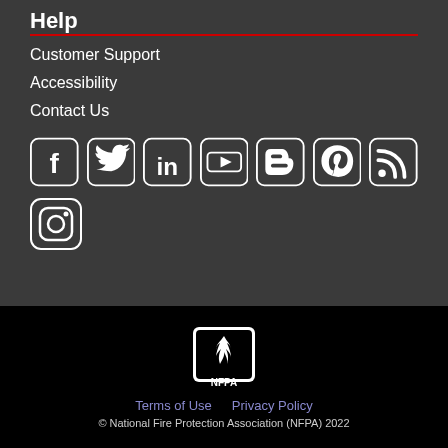Help
Customer Support
Accessibility
Contact Us
[Figure (infographic): Social media icons: Facebook, Twitter, LinkedIn, YouTube, Blogger, Pinterest, RSS, Instagram]
[Figure (logo): NFPA logo - white flame icon with NFPA text on black background]
Terms of Use   Privacy Policy
© National Fire Protection Association (NFPA) 2022